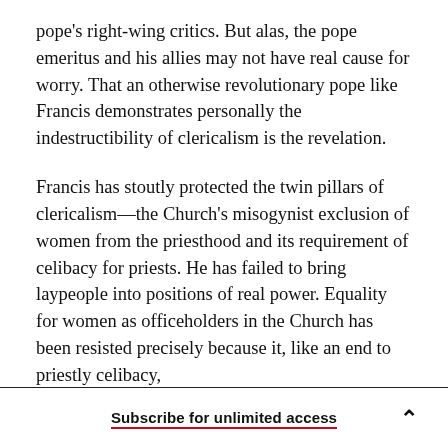pope's right-wing critics. But alas, the pope emeritus and his allies may not have real cause for worry. That an otherwise revolutionary pope like Francis demonstrates personally the indestructibility of clericalism is the revelation.
Francis has stoutly protected the twin pillars of clericalism—the Church's misogynist exclusion of women from the priesthood and its requirement of celibacy for priests. He has failed to bring laypeople into positions of real power. Equality for women as officeholders in the Church has been resisted precisely because it, like an end to priestly celibacy,
Subscribe for unlimited access